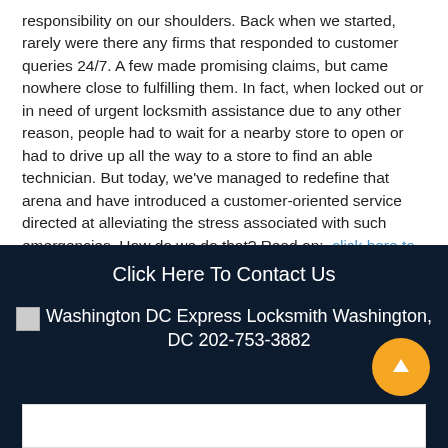responsibility on our shoulders. Back when we started, rarely were there any firms that responded to customer queries 24/7. A few made promising claims, but came nowhere close to fulfilling them. In fact, when locked out or in need of urgent locksmith assistance due to any other reason, people had to wait for a nearby store to open or had to drive up all the way to a store to find an able technician. But today, we've managed to redefine that arena and have introduced a customer-oriented service directed at alleviating the stress associated with such emergencies. How do we do that? Read on:  click here to read more
Click Here To Contact Us
Washington DC Express Locksmith Washington, DC 202-753-3882